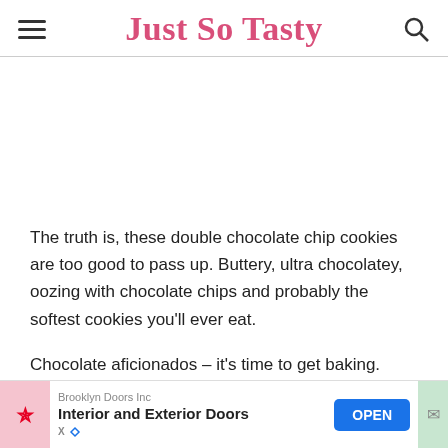Just So Tasty
The truth is, these double chocolate chip cookies are too good to pass up. Buttery, ultra chocolatey, oozing with chocolate chips and probably the softest cookies you'll ever eat.
Chocolate aficionados – it's time to get baking.
[Figure (screenshot): Advertisement banner: Brooklyn Doors Inc - Interior and Exterior Doors, with OPEN button]